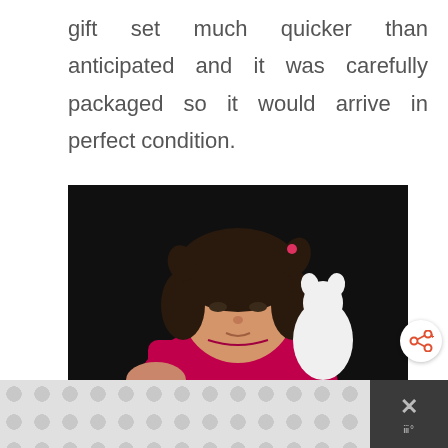gift set much quicker than anticipated and it was carefully packaged so it would arrive in perfect condition.
[Figure (photo): A young girl with dark hair in pigtails wearing a pink shirt, holding a white stuffed animal toy, photographed against a dark background.]